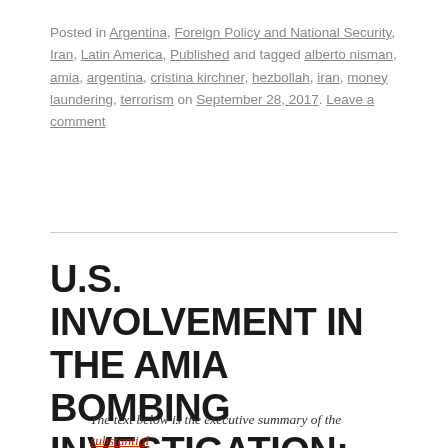Posted in Argentina, Foreign Policy and National Security, Iran, Latin America, Published and tagged alberto nisman, amia, argentina, cristina kirchner, hezbollah, iran, money laundering, terrorism on September 28, 2017. Leave a comment
U.S. INVOLVEMENT IN THE AMIA BOMBING INVESTIGATION: KEEPING IRAN “IN THE DOCK”
The text below is the executive summary of the substantial